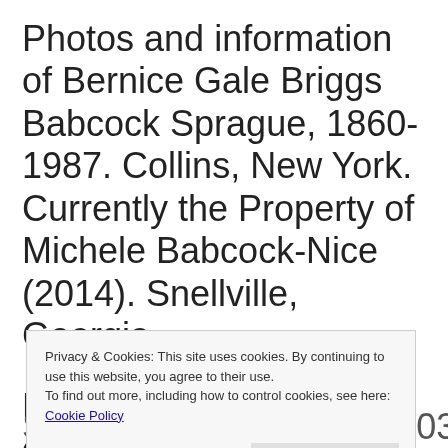Photos and information of Bernice Gale Briggs Babcock Sprague, 1860-1987.  Collins, New York.  Currently the Property of Michele Babcock-Nice (2014).  Snellville, Georgia.
Photos and information of Michele
Privacy & Cookies: This site uses cookies. By continuing to use this website, you agree to their use. To find out more, including how to control cookies, see here: Cookie Policy
Close and accept
Sears Portrait Studio (2003).